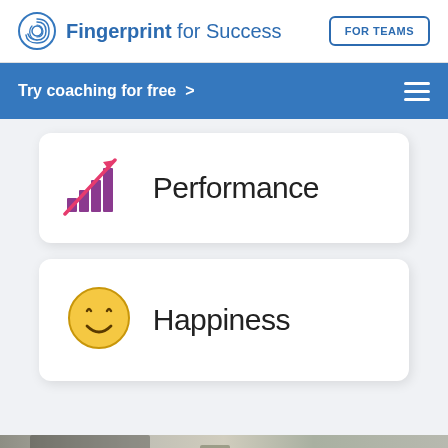Fingerprint for Success — FOR TEAMS
Try coaching for free >
[Figure (illustration): Bar chart icon with upward trend arrow in purple/pink, representing Performance]
Performance
[Figure (illustration): Yellow smiley face emoji icon representing Happiness]
Happiness
[Figure (photo): Bottom portion of a photo showing a person at a desk in an office environment with a plant visible]